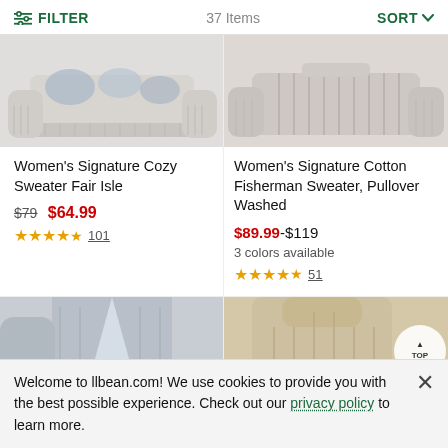FILTER   37 Items   SORT
[Figure (photo): Women's Signature Cozy Sweater Fair Isle product photo showing knit sweater with blue pattern details]
[Figure (photo): Women's Signature Cotton Fisherman Sweater Pullover Washed product photo showing light pink/gray cable knit sweater]
Women's Signature Cozy Sweater Fair Isle
$79 $64.99 ★★★★½ 101
Women's Signature Cotton Fisherman Sweater, Pullover Washed
$89.99-$119 3 colors available ★★★★½ 51
[Figure (photo): Gray cardigan sweater product photo (partially visible)]
[Figure (photo): Beige turtleneck sweater product photo (partially visible)]
Welcome to llbean.com! We use cookies to provide you with the best possible experience. Check out our privacy policy to learn more.